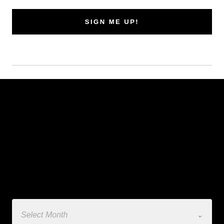SIGN ME UP!
PREVIOUS POSTS
Select Month
CATEGORIES
Select Category